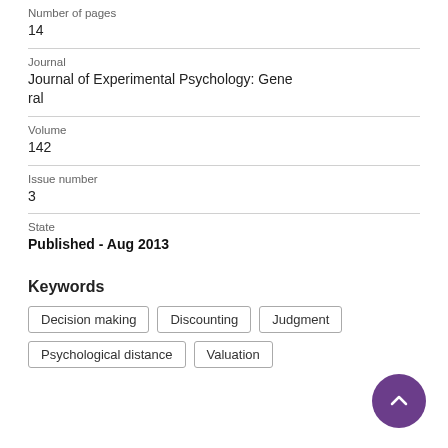Number of pages
14
Journal
Journal of Experimental Psychology: General
Volume
142
Issue number
3
State
Published - Aug 2013
Keywords
Decision making
Discounting
Judgment
Psychological distance
Valuation